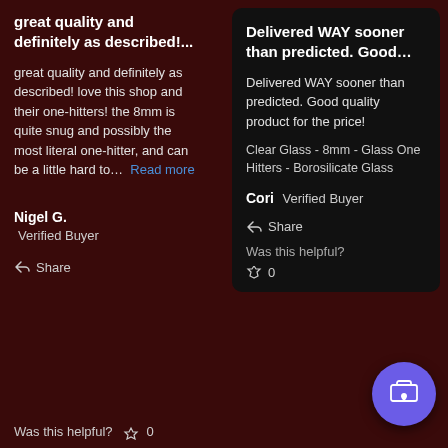great quality and definitely as described!...
great quality and definitely as described! love this shop and their one-hitters! the 8mm is quite snug and possibly the most literal one-hitter, and can be a little hard to... Read more
Nigel G. Verified Buyer
Share
Was this helpful? 0
Delivered WAY sooner than predicted. Good...
Delivered WAY sooner than predicted. Good quality product for the price!
Clear Glass - 8mm - Glass One Hitters - Borosilicate Glass
Cori Verified Buyer
Share
Was this helpful?
0